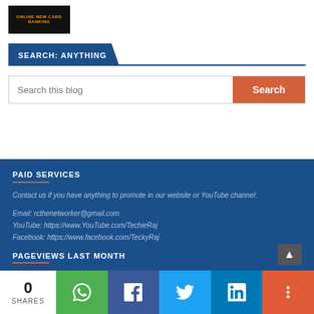[Figure (screenshot): Blog banner image thumbnail with text 'ONLINE NEW CARD BANKING' on dark background]
SEARCH: ANYTHING
Search this blog
PAID SERVICES
Contact us if you have anything to promote in our website or YouTube channel:
Email: rcthenetworker@gmail.com
YouTube: https://www.YouTube.com/TechieRaj
Facebook: https://www.facebook.com/TeckyRaj
PAGEVIEWS LAST MONTH
0 SHARES